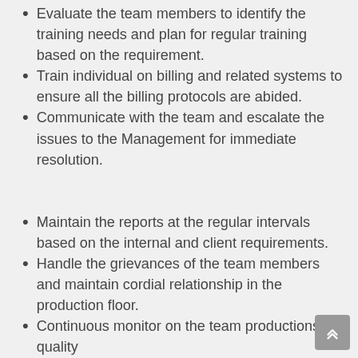Evaluate the team members to identify the training needs and plan for regular training based on the requirement.
Train individual on billing and related systems to ensure all the billing protocols are abided.
Communicate with the team and escalate the issues to the Management for immediate resolution.
Maintain the reports at the regular intervals based on the internal and client requirements.
Handle the grievances of the team members and maintain cordial relationship in the production floor.
Continuous monitor on the team productions & quality
Provide regular feedback to the team and submit